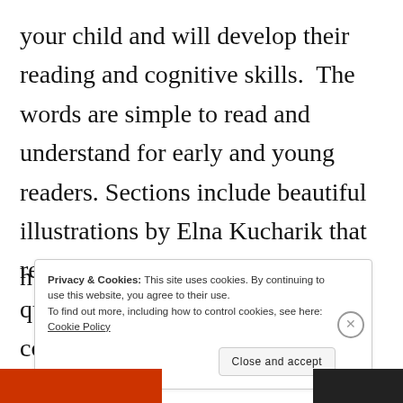your child and will develop their reading and cognitive skills.  The words are simple to read and understand for early and young readers. Sections include beautiful illustrations by Elna Kucharik that resemble Precious Moments and questions for children to contemplate during the reading.
Privacy & Cookies: This site uses cookies. By continuing to use this website, you agree to their use.
To find out more, including how to control cookies, see here: Cookie Policy
Close and accept